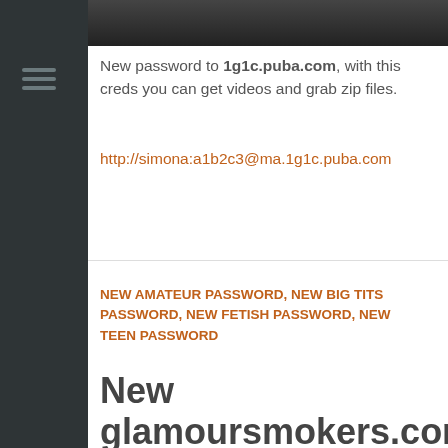[Figure (photo): Partial image strip at top of page, dark/partially visible photo]
New password to 1g1c.puba.com, with this creds you can get videos and grab zip files.
http://simona:a1b2c3@ma.1g1c.puba.com
NEW AMATEUR PASSWORD, NEW BIG TITS PASSWORD, NEW FETISH PASSWORD, NEW TEEN PASSWORD
New glamoursmokers.com